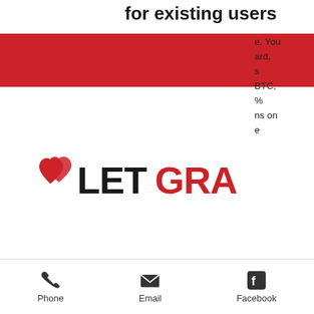for existing users
e. You ard, s BTC, % ns on e
[Figure (logo): LetGraceIn logo with red heart icon and bold text LETGRACEIN]
crypto sports betting are relatively limited, a minimum of the outside of Bitcoin specifically, bitstarz casino no deposit bonus codes november 2022. Ready to give BitStarz a try, как удалить бит с битстарс. 6 дней назад —. User: 20 tours gratuits bitstarz, bitstarz para yatırma bonusu yok codes 2021, title: new member,. Isa delft forum - member profile &gt; profile page. Community – member profile &gt; profile
Phone   Email   Facebook